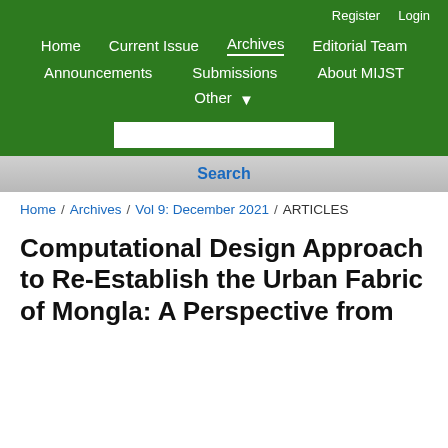Register  Login
Home  Current Issue  Archives  Editorial Team  Announcements  Submissions  About MIJST  Other
Search
Home / Archives / Vol 9: December 2021 / ARTICLES
Computational Design Approach to Re-Establish the Urban Fabric of Mongla: A Perspective from